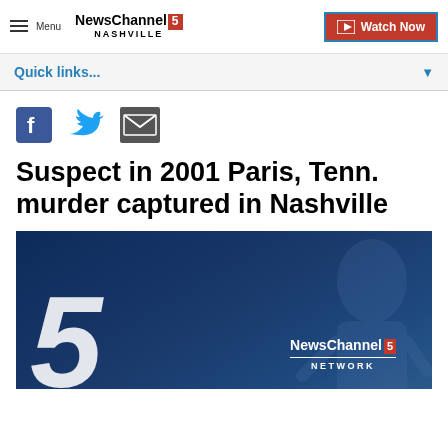Menu | NewsChannel 5 NASHVILLE | Watch Now
Quick links...
[Figure (screenshot): Social media icons: Facebook, Twitter, Email]
Suspect in 2001 Paris, Tenn. murder captured in Nashville
[Figure (photo): NewsChannel 5 Network branded video thumbnail with large white number 5 on dark blue background and a silhouette]